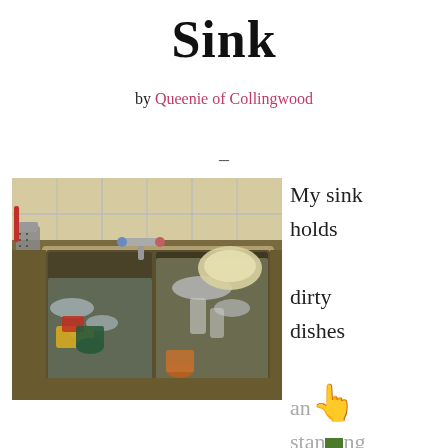Sink
by Queenie of Collingwood
–
[Figure (photo): Overhead photo of a kitchen sink filled with soapy water, dirty dishes, cups, bowls, and a sponge. A red spatula and metallic container are visible to the left, and a large bowl sits to the upper right. Tile backsplash and faucet visible in the background.]
My sink holds dirty dishes and standing rinsing